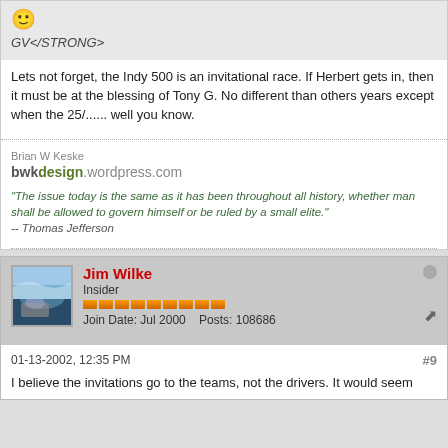[Figure (other): Smiley face emoji icon]
GV</STRONG>
Lets not forget, the Indy 500 is an invitational race. If Herbert gets in, then it must be at the blessing of Tony G. No different than others years except when the 25/...... well you know.
Brian W Keske
bwkdesign.wordpress.com
"The issue today is the same as it has been throughout all history, whether man shall be allowed to govern himself or be ruled by a small elite."
-- Thomas Jefferson
Jim Wilke
Insider
Join Date: Jul 2000    Posts: 108686
01-13-2002, 12:35 PM
#9
I believe the invitations go to the teams, not the drivers. It would seem